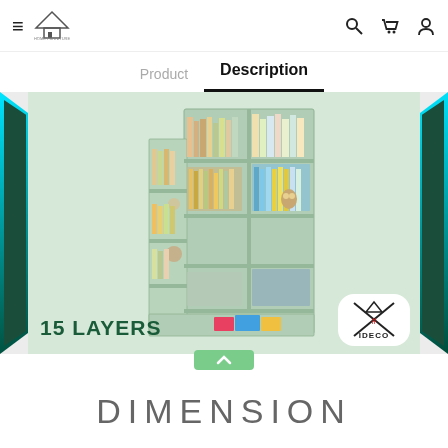≡ [logo] [search] [cart] [account]
Product   Description
[Figure (photo): A 15-layer mint green staircase bookshelf filled with books and decorative items, displayed with teal corner decorations and IDECO logo]
15 LAYERS
DIMENSION